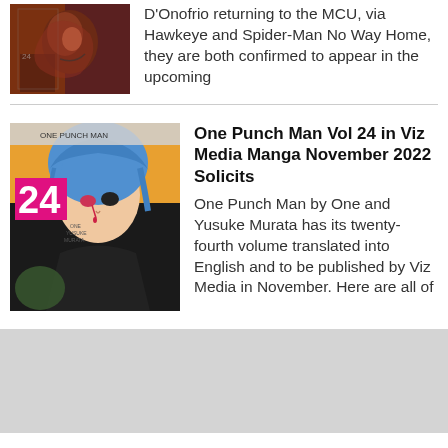[Figure (photo): Partial comic book cover with a face and warm tones, dark reddish-brown artwork]
D'Onofrio returning to the MCU, via Hawkeye and Spider-Man No Way Home, they are both confirmed to appear in the upcoming
[Figure (photo): One Punch Man Vol 24 manga cover showing an anime character with blue hair against a manga-style background with number 24]
One Punch Man Vol 24 in Viz Media Manga November 2022 Solicits
One Punch Man by One and Yusuke Murata has its twenty-fourth volume translated into English and to be published by Viz Media in November. Here are all of
[Figure (photo): Gray placeholder/banner area at the bottom]